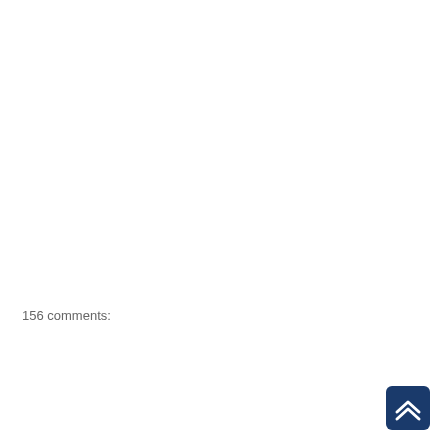156 comments:
[Figure (other): Dark blue rounded square button with a white double chevron/arrow pointing upward (scroll-to-top button), positioned in the bottom-right corner of the page.]